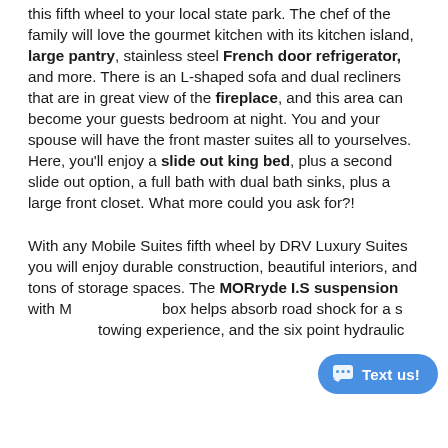this fifth wheel to your local state park. The chef of the family will love the gourmet kitchen with its kitchen island, large pantry, stainless steel French door refrigerator, and more. There is an L-shaped sofa and dual recliners that are in great view of the fireplace, and this area can become your guests bedroom at night. You and your spouse will have the front master suites all to yourselves. Here, you'll enjoy a slide out king bed, plus a second slide out option, a full bath with dual bath sinks, plus a large front closet. What more could you ask for?!
With any Mobile Suites fifth wheel by DRV Luxury Suites you will enjoy durable construction, beautiful interiors, and tons of storage spaces. The MORryde I.S suspension with M box helps absorb road shock for a s towing experience, and the six point hydraulic